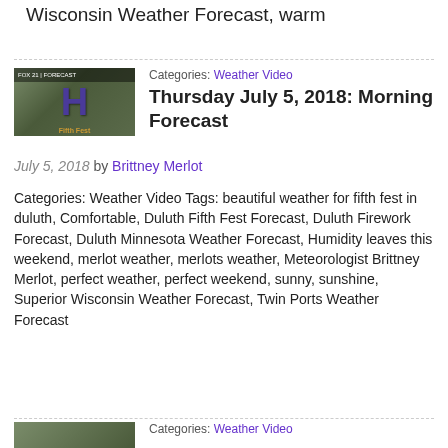Wisconsin Weather Forecast, warm
[Figure (photo): Weather forecast video thumbnail showing a meteorologist in front of a weather map with a large blue H symbol]
Categories: Weather Video
Thursday July 5, 2018: Morning Forecast
July 5, 2018 by Brittney Merlot
Categories: Weather Video Tags: beautiful weather for fifth fest in duluth, Comfortable, Duluth Fifth Fest Forecast, Duluth Firework Forecast, Duluth Minnesota Weather Forecast, Humidity leaves this weekend, merlot weather, merlots weather, Meteorologist Brittney Merlot, perfect weather, perfect weekend, sunny, sunshine, Superior Wisconsin Weather Forecast, Twin Ports Weather Forecast
[Figure (photo): Second weather video thumbnail]
Categories: Weather Video